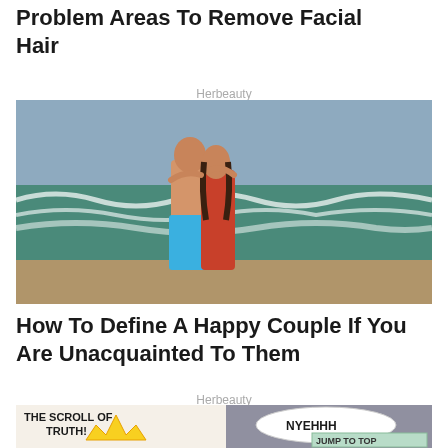Problem Areas To Remove Facial Hair
Herbeauty
[Figure (photo): A couple kissing on a beach in the ocean waves. The man is wearing blue swim shorts, the woman is wearing a red swimsuit. Ocean waves and grey-blue sky in background.]
How To Define A Happy Couple If You Are Unacquainted To Them
Herbeauty
[Figure (photo): Comic-style image showing 'THE SCROLL OF TRUTH!' text on the left with a yellow crown/explosion graphic, and 'NYEHHH' in a speech bubble on the right with a grey paint background. A green 'JUMP TO TOP' button is overlaid at the bottom right.]